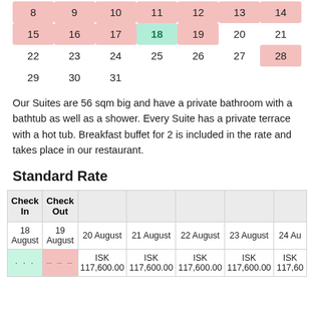| 8 | 9 | 10 | 11 | 12 | 13 | 14 |
| 15 | 16 | 17 | 18 | 19 | 20 | 21 |
| 22 | 23 | 24 | 25 | 26 | 27 | 28 |
| 29 | 30 | 31 |  |  |  |  |
Our Suites are 56 sqm big and have a private bathroom with a bathtub as well as a shower. Every Suite has a private terrace with a hot tub. Breakfast buffet for 2 is included in the rate and takes place in our restaurant.
Standard Rate
| Check In | Check Out |  |  |  |  |  |
| --- | --- | --- | --- | --- | --- | --- |
| 18 August | 19 August | 20 August | 21 August | 22 August | 23 August | 24 Au |
| ··· | --- | ISK 117,600.00 | ISK 117,600.00 | ISK 117,600.00 | ISK 117,600.00 | ISK 117,60 |